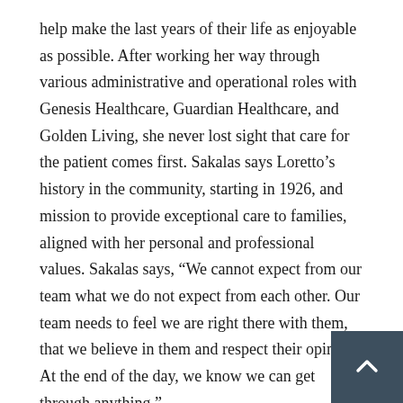help make the last years of their life as enjoyable as possible. After working her way through various administrative and operational roles with Genesis Healthcare, Guardian Healthcare, and Golden Living, she never lost sight that care for the patient comes first. Sakalas says Loretto’s history in the community, starting in 1926, and mission to provide exceptional care to families, aligned with her personal and professional values. Sakalas says, “We cannot expect from our team what we do not expect from each other. Our team needs to feel we are right there with them, that we believe in them and respect their opinion. At the end of the day, we know we can get through anything.”
Margery came to Loretto 15 years ago as Assistant Director of Nursing. She holds an Associate’s in Applied Nursing from St. Elizabeth College of Nursing in Utica, a Bachelor of Scie Nursing from Southern New